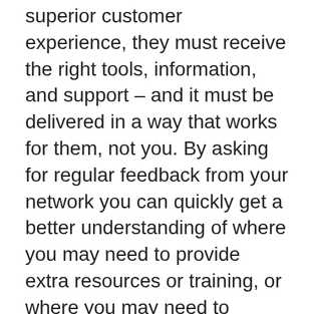superior customer experience, they must receive the right tools, information, and support – and it must be delivered in a way that works for them, not you. By asking for regular feedback from your network you can quickly get a better understanding of where you may need to provide extra resources or training, or where you may need to improve your communication style or timings.
It's not just a tick-box exercise.
Once you've monitored it's vital that you do something with the results. Too